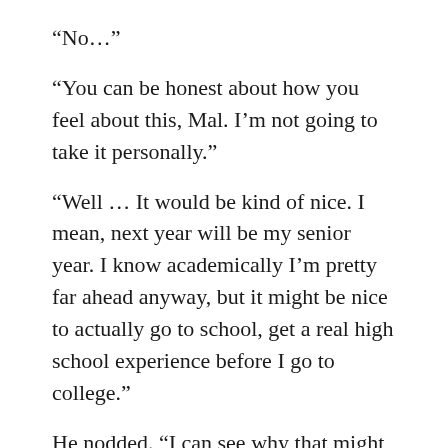“No…”
“You can be honest about how you feel about this, Mal. I’m not going to take it personally.”
“Well … It would be kind of nice. I mean, next year will be my senior year. I know academically I’m pretty far ahead anyway, but it might be nice to actually go to school, get a real high school experience before I go to college.”
He nodded. “I can see why that might appeal to you.”
“Honestly though, wherever we are, so long as we’re together, I’m home.”